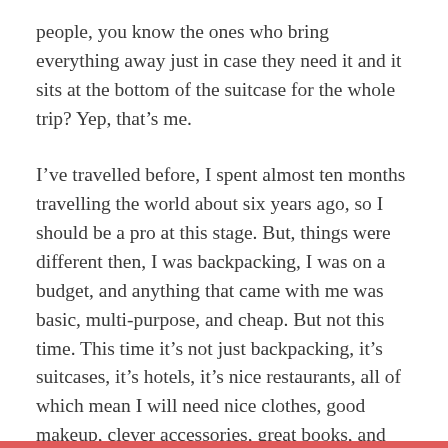people, you know the ones who bring everything away just in case they need it and it sits at the bottom of the suitcase for the whole trip? Yep, that's me.
I've travelled before, I spent almost ten months travelling the world about six years ago, so I should be a pro at this stage. But, things were different then, I was backpacking, I was on a budget, and anything that came with me was basic, multi-purpose, and cheap. But not this time. This time it's not just backpacking, it's suitcases, it's hotels, it's nice restaurants, all of which mean I will need nice clothes, good makeup, clever accessories, great books, and even a pair of shoes or two.